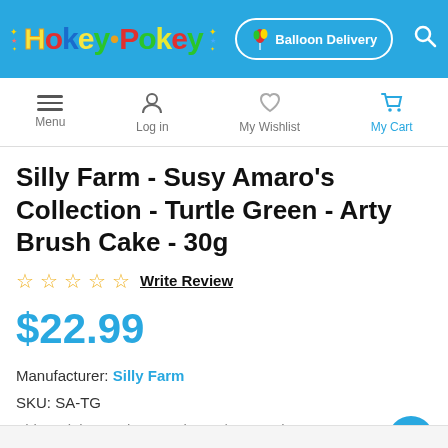HokeyPokey — Balloon Delivery
Silly Farm - Susy Amaro's Collection - Turtle Green - Arty Brush Cake - 30g
☆ ☆ ☆ ☆ ☆ Write Review
$22.99
Manufacturer: Silly Farm
SKU: SA-TG
This Rainbow cake contains uv/neon paint